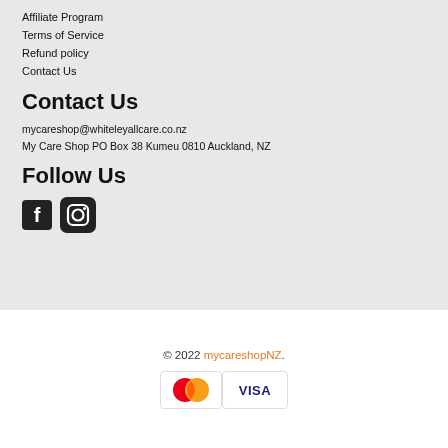Affiliate Program
Terms of Service
Refund policy
Contact Us
Contact Us
mycareshop@whiteleyallcare.co.nz
My Care Shop PO Box 38 Kumeu 0810 Auckland, NZ
Follow Us
[Figure (illustration): Facebook and Instagram social media icons]
© 2022 mycareshopNZ.
[Figure (illustration): Mastercard and Visa payment method logos]